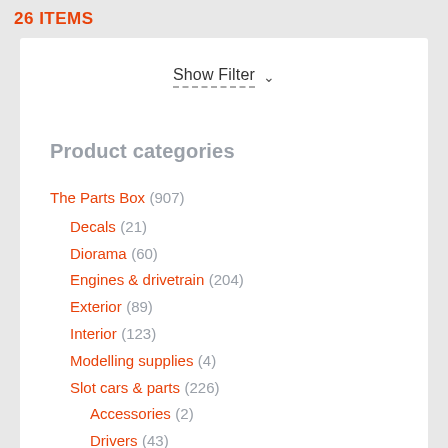26 ITEMS
Show Filter ∨
Product categories
The Parts Box (907)
Decals (21)
Diorama (60)
Engines & drivetrain (204)
Exterior (89)
Interior (123)
Modelling supplies (4)
Slot cars & parts (226)
Accessories (2)
Drivers (43)